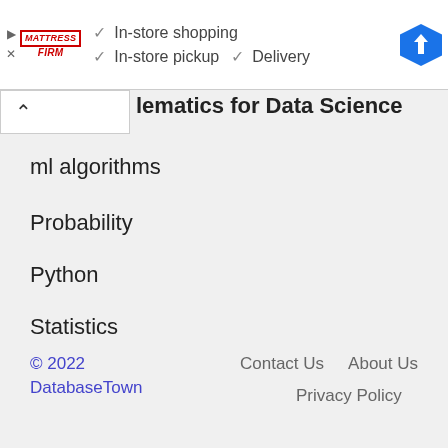[Figure (infographic): Mattress Firm advertisement banner with logo, checkmarks for In-store shopping, In-store pickup, Delivery, and a Google Maps navigation icon]
lematics for Data Science
ml algorithms
Probability
Python
Statistics
© 2022 DatabaseTown    Contact Us    About Us    Privacy Policy